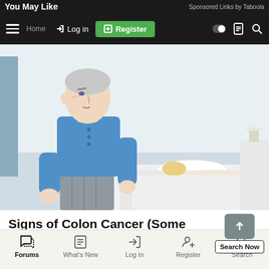You May Like  Sponsored Links by Taboola
☰  Log in  Register
[Figure (photo): An elderly man with grey hair wearing a blue t-shirt sits on the edge of a bed, holding his stomach in pain. A woman lies in the bed behind him covered with white sheets. Bedroom setting with white walls and furniture.]
Signs of Colon Cancer (Some May Surprise You)
Colon Cancer | Search Ads
Forums  What's New  Log In  Register  Search